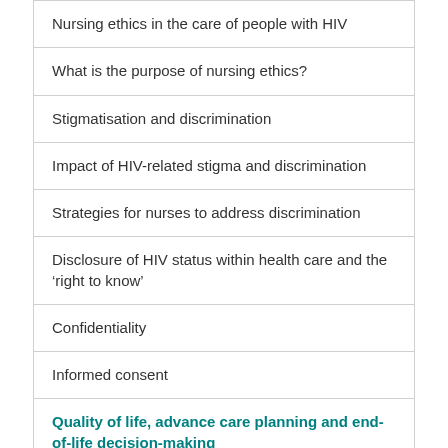Nursing ethics in the care of people with HIV
What is the purpose of nursing ethics?
Stigmatisation and discrimination
Impact of HIV-related stigma and discrimination
Strategies for nurses to address discrimination
Disclosure of HIV status within health care and the ‘right to know’
Confidentiality
Informed consent
Quality of life, advance care planning and end-of-life decision-making
Emerging issues and their ethical implications – Pre Exposure Prophylaxis